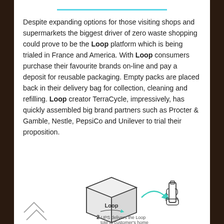Despite expanding options for those visiting shops and supermarkets the biggest driver of zero waste shopping could prove to be the Loop platform which is being trialed in France and America. With Loop consumers purchase their favourite brands on-line and pay a deposit for reusable packaging. Empty packs are placed back in their delivery bag for collection, cleaning and refilling. Loop creator TerraCycle, impressively, has quickly assembled big brand partners such as Procter & Gamble, Nestle, PepsiCo and Unilever to trial their proposition.
[Figure (illustration): Diagram showing the Loop delivery cycle: a Loop branded box with an arrow pointing to a hand holding a bottle, with a label '2 UPS delivers the Loop tote to customer's home'. Partial view of further steps of the cycle visible at the edges.]